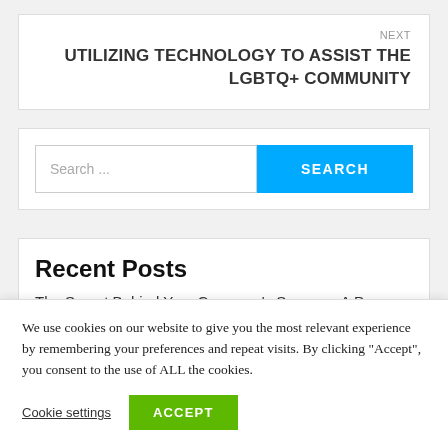NEXT
UTILIZING TECHNOLOGY TO ASSIST THE LGBTQ+ COMMUNITY
[Figure (screenshot): Search bar with text 'Search ...' and a blue SEARCH button]
Recent Posts
The Secret Behind Your Company's Success: A Pro
We use cookies on our website to give you the most relevant experience by remembering your preferences and repeat visits. By clicking “Accept”, you consent to the use of ALL the cookies.
Cookie settings
ACCEPT